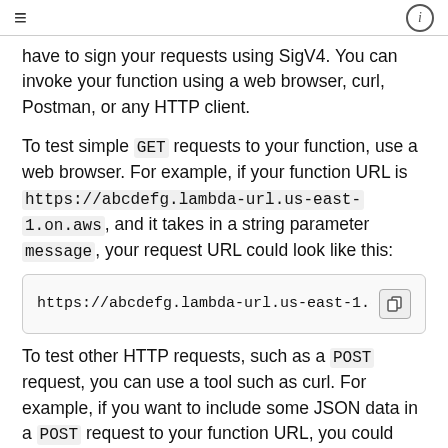≡  ⓘ
have to sign your requests using SigV4. You can invoke your function using a web browser, curl, Postman, or any HTTP client.
To test simple GET requests to your function, use a web browser. For example, if your function URL is https://abcdefg.lambda-url.us-east-1.on.aws , and it takes in a string parameter message , your request URL could look like this:
[Figure (screenshot): Code box showing URL: https://abcdefg.lambda-url.us-east-1.o with a copy button]
To test other HTTP requests, such as a POST request, you can use a tool such as curl. For example, if you want to include some JSON data in a POST request to your function URL, you could use the following curl command: